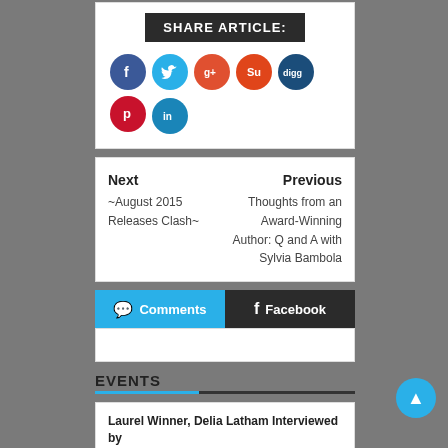[Figure (infographic): Share Article header with social media icon buttons: Facebook, Twitter, Google+, StumbleUpon, Digg, Pinterest, LinkedIn]
Next
~August 2015 Releases Clash~
Previous
Thoughts from an Award-Winning Author: Q and A with Sylvia Bambola
[Figure (infographic): Comments and Facebook tab buttons]
EVENTS
Laurel Winner, Delia Latham Interviewed by Cynthia Simmons